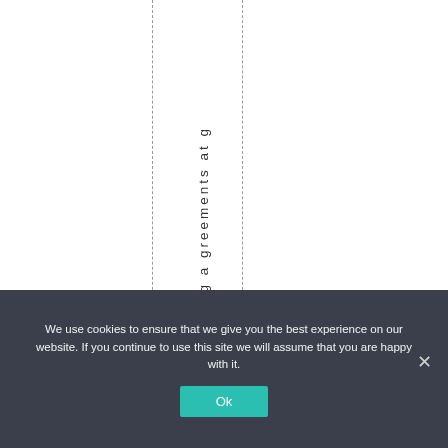nding agreements at g
We use cookies to ensure that we give you the best experience on our website. If you continue to use this site we will assume that you are happy with it.